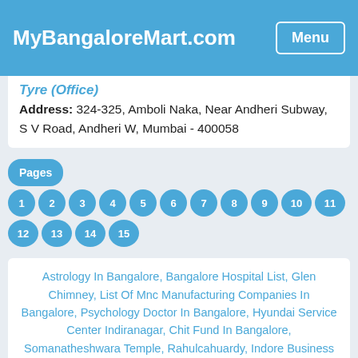MyBangaloreMart.com
Tyre (Office)
Address: 324-325, Amboli Naka, Near Andheri Subway, S V Road, Andheri W, Mumbai - 400058
Pages 1 2 3 4 5 6 7 8 9 10 11 12 13 14 15
Astrology In Bangalore, Bangalore Hospital List, Glen Chimney, List Of Mnc Manufacturing Companies In Bangalore, Psychology Doctor In Bangalore, Hyundai Service Center Indiranagar, Chit Fund In Bangalore, Somanatheshwara Temple, Rahulcahuardy, Indore Business Directory, List Of Electronics Companies In Bangalore With Contact Details, Automation In Bangalore, Free Business Directory, Kali Temple In Ulsoor Bangalore, Female Doctors In Bangalore, Best